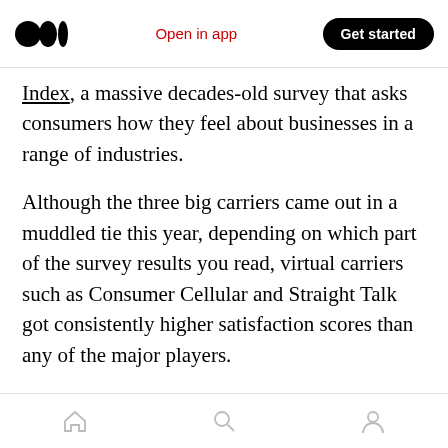Open in app | Get started
Index, a massive decades-old survey that asks consumers how they feel about businesses in a range of industries.
Although the three big carriers came out in a muddled tie this year, depending on which part of the survey results you read, virtual carriers such as Consumer Cellular and Straight Talk got consistently higher satisfaction scores than any of the major players.
We found the same result in our Readers' Choice Awards, which check a slightly different but
Home | Search | Profile